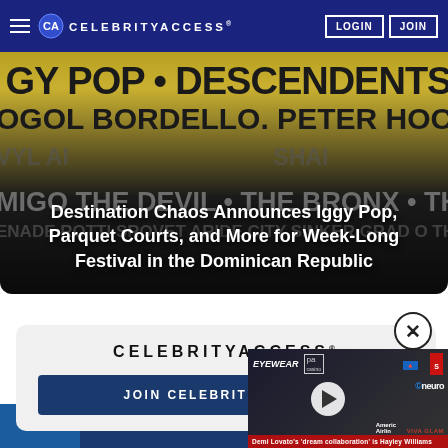CELEBRITYACCESS® — LOGIN | JOIN
[Figure (photo): Festival poster for Destination Chaos showing artist lineup including Iggy Pop, Descendents, Parquet Courts, Gogol Bordello, Peter Hook & The Light, Amigo The Devil, The Bronx, The Chats, Starcrawler and more, in black and yellow typography on a festival banner background]
Destination Chaos Announces Iggy Pop, Parquet Courts, and More for Week-Long Festival in the Dominican Republic
[Figure (screenshot): CelebrityAccess membership signup card with logo and JOIN CELEBRITY ACCESS button]
[Figure (screenshot): Video player popup showing Demi Lovato red carpet appearance with caption 'Demi Lovato's dream collaboration is Hayley Williams', featuring EYEWEAR, PAR casino, and Neuro brand logos, with a VIVA GLAM watermark]
Demi Lovato's 'dream collaboration' is Hayley Williams